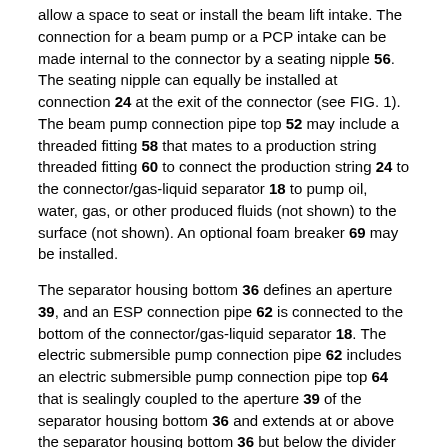allow a space to seat or install the beam lift intake. The connection for a beam pump or a PCP intake can be made internal to the connector by a seating nipple 56. The seating nipple can equally be installed at connection 24 at the exit of the connector (see FIG. 1). The beam pump connection pipe top 52 may include a threaded fitting 58 that mates to a production string threaded fitting 60 to connect the production string 24 to the connector/gas-liquid separator 18 to pump oil, water, gas, or other produced fluids (not shown) to the surface (not shown). An optional foam breaker 69 may be installed.
The separator housing bottom 36 defines an aperture 39, and an ESP connection pipe 62 is connected to the bottom of the connector/gas-liquid separator 18. The electric submersible pump connection pipe 62 includes an electric submersible pump connection pipe top 64 that is sealingly coupled to the aperture 39 of the separator housing bottom 36 and extends at or above the separator housing bottom 36 but below the divider bottom 40 to allow the produced fluid supply passage 46 to be in fluid communication with the electric submersible pump connection pipe 62. The electric submersible pump connection pipe 62 includes a